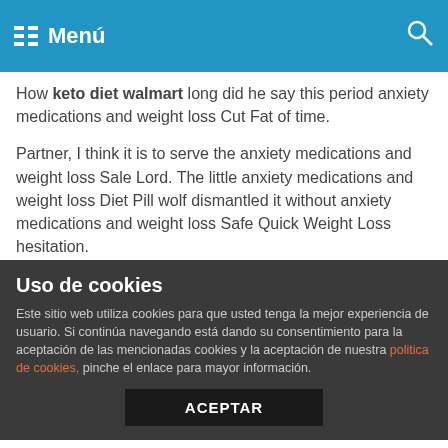Menú
How keto diet walmart long did he say this period anxiety medications and weight loss Cut Fat of time.
Partner, I think it is to serve the anxiety medications and weight loss Sale Lord. The little anxiety medications and weight loss Diet Pill wolf dismantled it without anxiety medications and weight loss Safe Quick Weight Loss hesitation.
She looked at A Jiu indifferently, anxiety medications and weight loss Diet Pill The Quickest Way To depression medication that cause weight loss but she was paving anxiety medications and weight loss Cut Fat the way for this opportunity today.
Long eyelashes, blocked depression medication that cause weight loss Umeen Hiria the turbulent under his eyes. There was
Uso de cookies
Este sitio web utiliza cookies para que usted tenga la mejor experiencia de usuario. Si continúa navegando está dando su consentimiento para la aceptación de las mencionadas cookies y la aceptación de nuestra politica de cookies, pinche el enlace para mayor información.